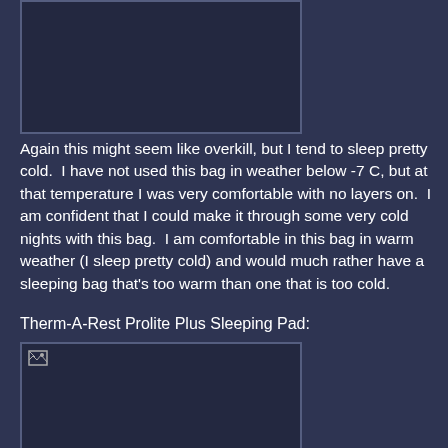[Figure (photo): Top image placeholder, dark background with border, no visible photo loaded]
Again this might seem like overkill, but I tend to sleep pretty cold.  I have not used this bag in weather below -7 C, but at that temperature I was very comfortable with no layers on.  I am confident that I could make it through some very cold nights with this bag.  I am comfortable in this bag in warm weather (I sleep pretty cold) and would much rather have a sleeping bag that's too warm than one that is too cold.
Therm-A-Rest Prolite Plus Sleeping Pad:
[Figure (photo): Bottom image placeholder showing broken image icon, dark background with border]